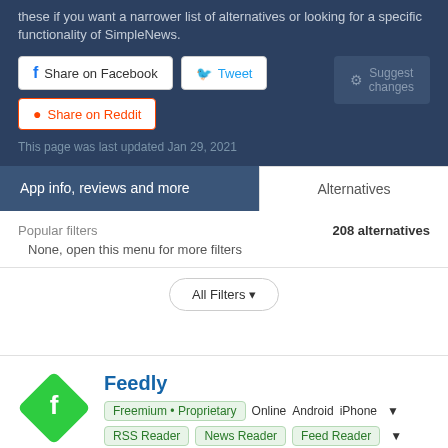these if you want a narrower list of alternatives or looking for a specific functionality of SimpleNews.
Share on Facebook | Tweet | Share on Reddit | Suggest changes
This page was last updated Jan 29, 2021
App info, reviews and more | Alternatives
Popular filters
208 alternatives
None, open this menu for more filters
All Filters
Feedly
Freemium • Proprietary  Online  Android  iPhone
RSS Reader  News Reader  Feed Reader